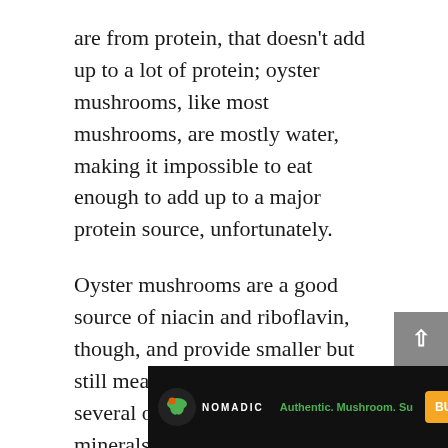are from protein, that doesn't add up to a lot of protein; oyster mushrooms, like most mushrooms, are mostly water, making it impossible to eat enough to add up to a major protein source, unfortunately.
Oyster mushrooms are a good source of niacin and riboflavin, though, and provide smaller but still meaningful amounts of several other vitamins and minerals.
Medicinal Benefits
In preliminary studies, oyster mushroom extracts taken over a period of weeks might be able to stre[ngth...] cultu[ral context],
[Figure (other): Advertisement banner overlay at the bottom of the page showing a mushroom supplement product. Logo reads NOMADIC with a mushroom leaf icon. Tagline: Authentic. Mushroom. Su[pplement]. Orange BUY NOW button on right. Supplement bottle visible.]